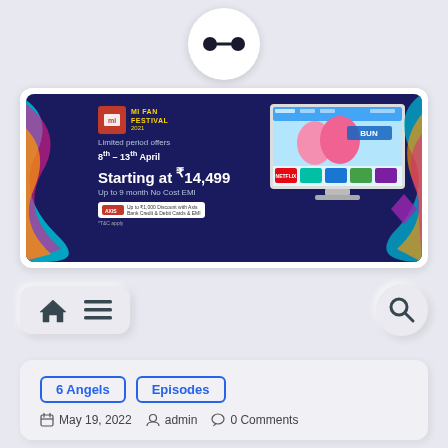[Figure (logo): Round white circle logo with Baymax-style face: two black dots connected by a horizontal line]
[Figure (screenshot): Mi Fan Festival 2021 advertisement banner on dark navy background. Text: Limited period offers, 8th – 13th April, Starting at ₹14,499, Up to 9 month No Cost EMI. Axis Bank Credit & Debit Cards & EMI offer. TV screen graphic on right.]
[Figure (infographic): Navigation bar with neumorphic style. Left side: home icon and hamburger menu icon. Right side: search/magnifying glass icon.]
6 Angels   Episodes
May 19, 2022   admin   0 Comments